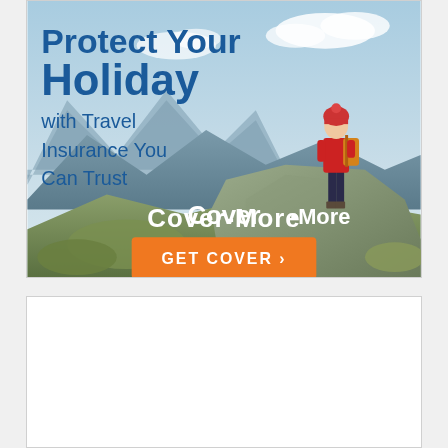[Figure (illustration): Travel insurance advertisement banner for Cover-More. Shows a hiker in red jacket standing on a mountain rock with scenic mountain landscape background. Text overlays: 'Protect Your Holiday' in large blue bold, 'with Travel Insurance You Can Trust' in medium blue, 'Cover-More' logo in white bold, and an orange button 'GET COVER ›'. Sky and mountains visible in background.]
[Figure (other): Empty white box/card, no visible content.]